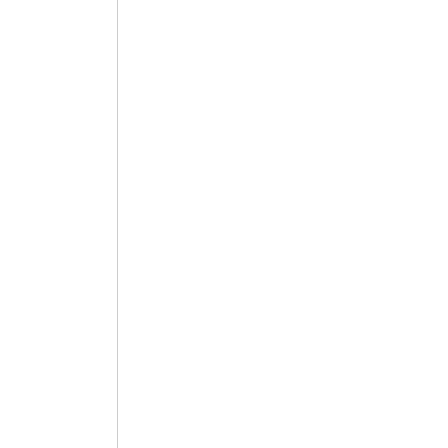eat a square me "We alw bee at war with Eas 198 Geo Orv Tyri 'Th are bra' me kno at our doc Let' go kill the "I can